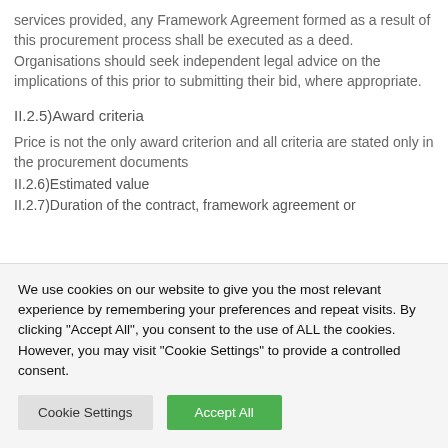services provided, any Framework Agreement formed as a result of this procurement process shall be executed as a deed. Organisations should seek independent legal advice on the implications of this prior to submitting their bid, where appropriate.
II.2.5)Award criteria
Price is not the only award criterion and all criteria are stated only in the procurement documents
II.2.6)Estimated value
II.2.7)Duration of the contract, framework agreement or
We use cookies on our website to give you the most relevant experience by remembering your preferences and repeat visits. By clicking "Accept All", you consent to the use of ALL the cookies. However, you may visit "Cookie Settings" to provide a controlled consent.